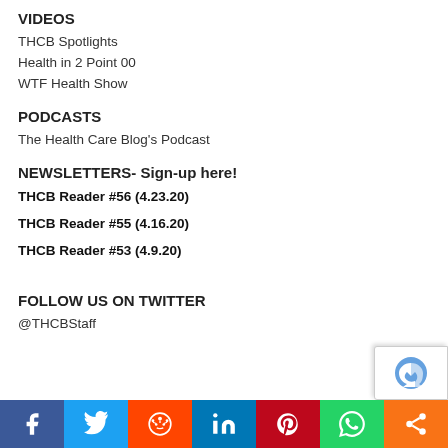VIDEOS
THCB Spotlights
Health in 2 Point 00
WTF Health Show
PODCASTS
The Health Care Blog's Podcast
NEWSLETTERS- Sign-up here!
THCB Reader #56 (4.23.20)
THCB Reader #55 (4.16.20)
THCB Reader #53 (4.9.20)
FOLLOW US ON TWITTER
@THCBStaff